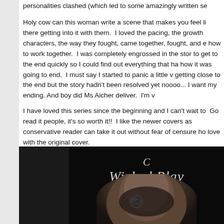personalities clashed (which led to some amazingly written se...
Holy cow can this woman write a scene that makes you feel like you are right there getting into it with them.  I loved the pacing, the growth of the characters, the way they fought, came together, fought, and eventually learned how to work together.  I was completely engrossed in the story and wanted to get to the end quickly so I could find out everything that happened and how it was going to end.  I must say I started to panic a little when I was getting close to the end but the story hadn't been resolved yet.  Nooo nooo... I want my ending. And boy did Ms Aicher deliver.  I'm v...
I have loved this series since the beginning and I can't wait to... Go read it people, it's so worth it!!  I like the newer covers as a conservative reader can take it out without fear of censure ho... love with the original cover.
[Figure (photo): Book cover for 'Wicked Play' — dark background with script title text and a partially visible face wearing a decorative masquerade mask]